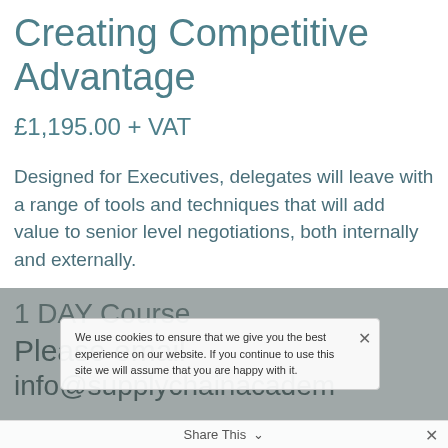Creating Competitive Advantage
£1,195.00 + VAT
Designed for Executives, delegates will leave with a range of tools and techniques that will add value to senior level negotiations, both internally and externally.
1 DAY Course
Please email
info@supplychainacadem